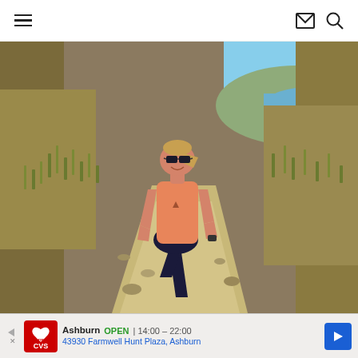Navigation header with hamburger menu, mail icon, and search icon
[Figure (photo): A woman wearing sunglasses, a salmon/peach tank top, and dark shorts running on a dirt trail path with dry grassland on both sides and a river/lake visible in the background under a blue sky.]
Ashburn OPEN | 14:00 – 22:00 43930 Farmwell Hunt Plaza, Ashburn